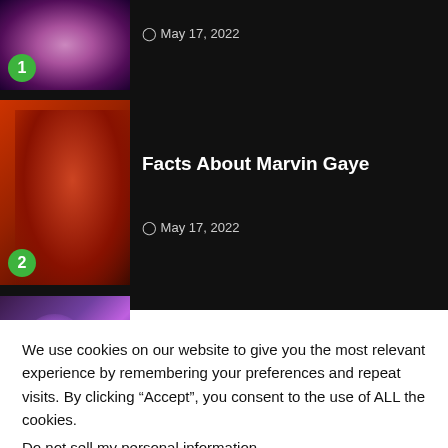[Figure (photo): Item 1 thumbnail with numbered badge showing '1' in green circle. Image shows abstract pink/purple swirling spiral graphic. Date shown: May 17, 2022.]
[Figure (photo): Item 2 thumbnail with numbered badge showing '2' in green circle. Image shows a man in red sweater and white hat. Article titled 'Facts About Marvin Gaye', dated May 17, 2022.]
Facts About Marvin Gaye
May 17, 2022
[Figure (photo): Item 3 thumbnail. Image shows a fantasy/gaming scene with purple magic effects. Article titled 'Farm and Buy Carrot in Genshin Impact'.]
Farm and Buy Carrot in Genshin Impact
We use cookies on our website to give you the most relevant experience by remembering your preferences and repeat visits. By clicking “Accept”, you consent to the use of ALL the cookies.
Do not sell my personal information.